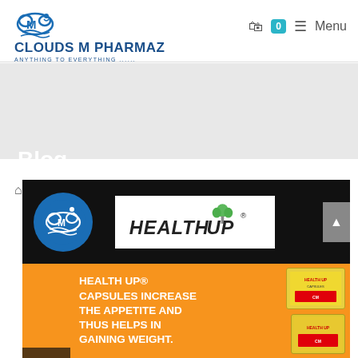[Figure (logo): Clouds M Pharmaz logo with cloud and M icon, tagline ANYTHING TO EVERYTHING]
☰ Menu | 🛒 0
Blog
⌂ > Blog > Why Is Health Up® Capsules The Most Trending Thing N
[Figure (photo): Health Up® Capsules promotional image. Top black section with Clouds M Pharmaz circular logo and Health Up® logo in white box. Bottom orange section with bold white text: HEALTH UP® CAPSULES INCREASE THE APPETITE AND THUS HELPS IN GAINING WEIGHT. Product boxes shown on right.]